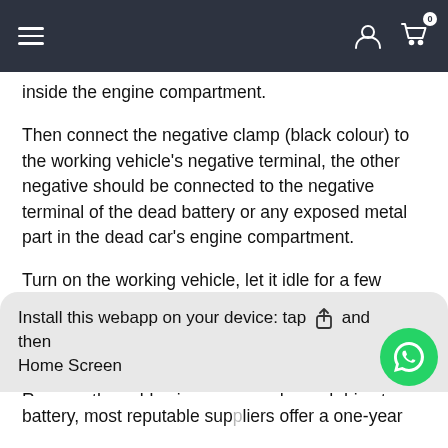Navigation bar with hamburger menu, user icon, and cart icon (0 items)
inside the engine compartment.
Then connect the negative clamp (black colour) to the working vehicle's negative terminal, the other negative should be connected to the negative terminal of the dead battery or any exposed metal part in the dead car's engine compartment.
Turn on the working vehicle, let it idle for a few seconds to allow the alternator to full charge the working car battery before turning on the dead battery car.
Remove the cables in reverse order and drive to a workshop or battery shop or drive home and let Ajalty take care of the rest.
Install this webapp on your device: tap  and then  Home Screen
battery, most reputable suppliers offer a one-year